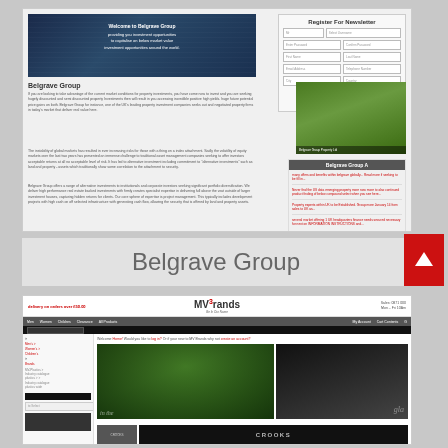[Figure (screenshot): Screenshot of Belgrave Group website homepage with hero image, newsletter signup form, property investment content, and news sidebar]
Belgrave Group
[Figure (screenshot): Screenshot of MV3rands fashion retail website with header, navigation, sidebar, and product images]